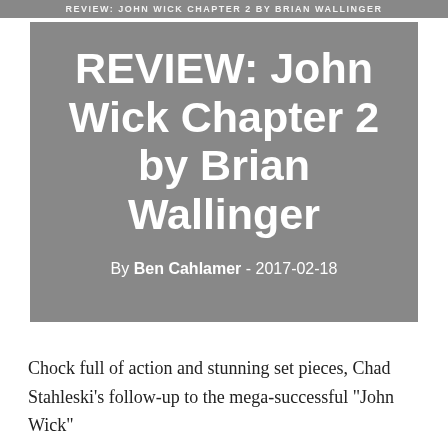REVIEW: JOHN WICK CHAPTER 2 BY BRIAN WALLINGER
REVIEW: John Wick Chapter 2 by Brian Wallinger
By Ben Cahlamer - 2017-02-18
Chock full of action and stunning set pieces, Chad Stahleski's follow-up to the mega-successful “John Wick”